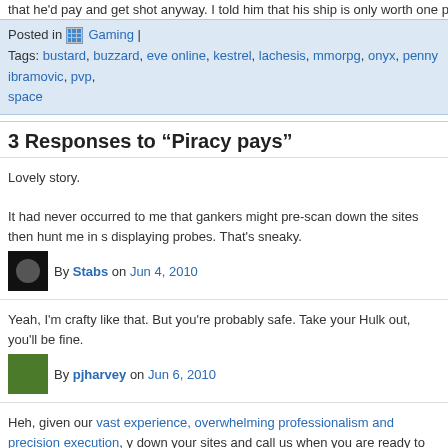that he'd pay and get shot anyway. I told him that his ship is only worth one point on the kill-
Posted in Gaming | Tags: bustard, buzzard, eve online, kestrel, lachesis, mmorpg, onyx, penny ibramovic, pvp, space
3 Responses to “Piracy pays”
Lovely story.

It had never occurred to me that gankers might pre-scan down the sites then hunt me in s displaying probes. That's sneaky.
By Stabs on Jun 4, 2010
Yeah, I'm crafty like that. But you're probably safe. Take your Hulk out, you'll be fine.
By pjharvey on Jun 6, 2010
Heh, given our vast experience, overwhelming professionalism and precision execution, y down your sites and call us when you are ready to have us come and ransom you.

Sheesh, we're becoming the Python Wormhole Cartel....
By Kename Fin on Jun 7, 2010
Sorry, comments for this entry are closed.